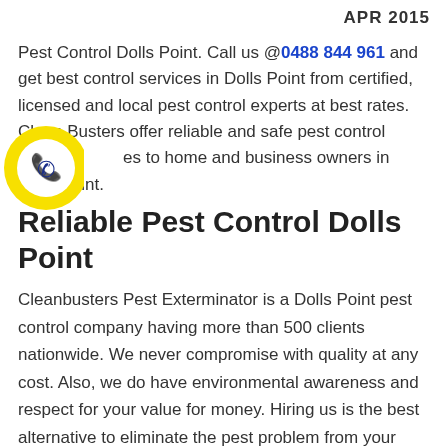APR 2015
Pest Control Dolls Point. Call us @0488 844 961 and get best control services in Dolls Point from certified, licensed and local pest control experts at best rates. Clean Busters offer reliable and safe pest control services to home and business owners in Dolls Point.
[Figure (illustration): Yellow circular phone icon with a dark blue telephone handset symbol inside]
Reliable Pest Control Dolls Point
Cleanbusters Pest Exterminator is a Dolls Point pest control company having more than 500 clients nationwide. We never compromise with quality at any cost. Also, we do have environmental awareness and respect for your value for money. Hiring us is the best alternative to eliminate the pest problem from your home.  Do not attempt to remove a pest problem on your own. Often they turn out to be a much larger problem